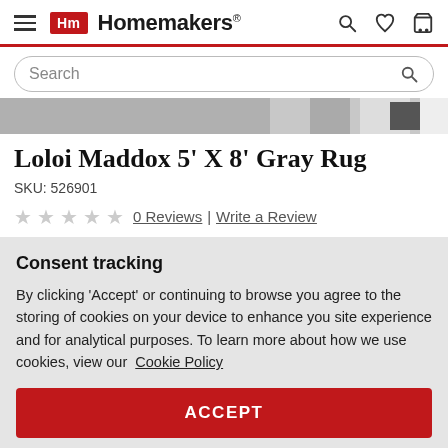Homemakers
[Figure (screenshot): Partial product image of a gray rug]
Loloi Maddox 5' X 8' Gray Rug
SKU: 526901
★★★★★ 0 Reviews | Write a Review
Consent tracking
By clicking 'Accept' or continuing to browse you agree to the storing of cookies on your device to enhance you site experience and for analytical purposes. To learn more about how we use cookies, view our  Cookie Policy
ACCEPT